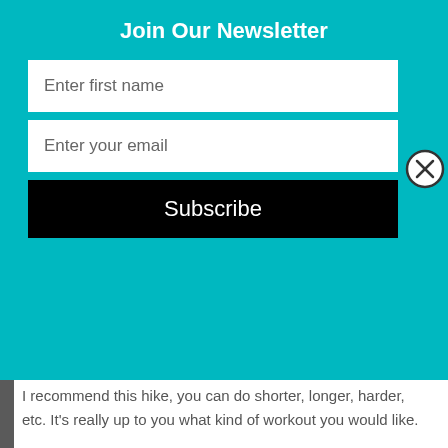Join Our Newsletter
Enter first name
Enter your email
Subscribe
I recommend this hike, you can do shorter, longer, harder, etc. It's really up to you what kind of workout you would like.
Most of the hike on the way in was downhill until you hit a few forks in the road, follow the signs to paradise falls. Luckily there were not that many people, but I hear from the grapevine that it is always completely full. We arrived and people were jumping off the rocks, so I decided to make my way over and jump myself. It is pretty hard to get up to the top; a lot of scrambling and rock climbing. But once you get up, there is no way down except to jump.